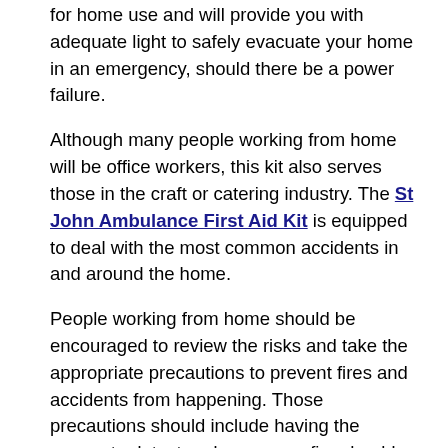for home use and will provide you with adequate light to safely evacuate your home in an emergency, should there be a power failure.
Although many people working from home will be office workers, this kit also serves those in the craft or catering industry. The St John Ambulance First Aid Kit is equipped to deal with the most common accidents in and around the home.
People working from home should be encouraged to review the risks and take the appropriate precautions to prevent fires and accidents from happening. Those precautions should include having the means to detect and manage a fire should one occur. In our Home Working Fire Safety Kit, we have also included an optical smoke alarm and a fire blanket to help you cover all the common risks found in the home.
To assist with protecting yourself, your family and your